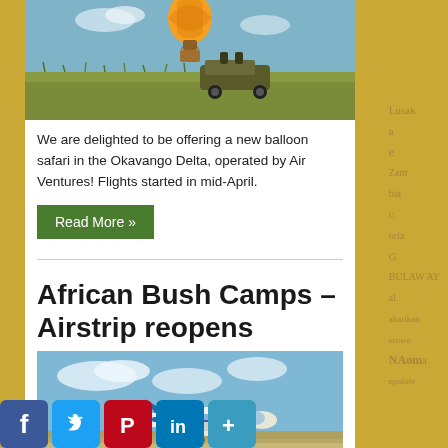[Figure (photo): Hot air balloon over African savanna with safari vehicle below]
We are delighted to be offering a new balloon safari in the Okavango Delta, operated by Air Ventures! Flights started in mid-April.
Read More »
African Bush Camps – Airstrip reopens
[Figure (photo): Small blue and white aircraft landing or taking off on a dirt airstrip]
[Figure (infographic): Social media share icons: Facebook, Twitter, Pinterest, LinkedIn, More]